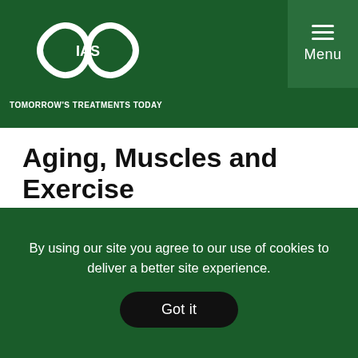TOMORROW'S TREATMENTS TODAY
Aging, Muscles and Exercise
Written by LIPPMAN, Ph.D., Richard
Dear antiaging fans, here is something for you to
By using our site you agree to our use of cookies to deliver a better site experience.